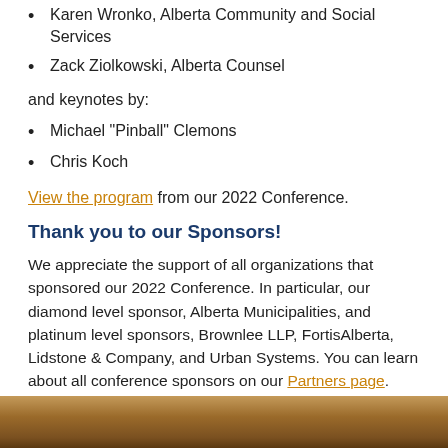Karen Wronko, Alberta Community and Social Services
Zack Ziolkowski, Alberta Counsel
and keynotes by:
Michael "Pinball" Clemons
Chris Koch
View the program from our 2022 Conference.
Thank you to our Sponsors!
We appreciate the support of all organizations that sponsored our 2022 Conference. In particular, our diamond level sponsor, Alberta Municipalities, and platinum level sponsors, Brownlee LLP, FortisAlberta, Lidstone & Company, and Urban Systems. You can learn about all conference sponsors on our Partners page.
[Figure (photo): Photo strip at the bottom of the page showing a conference or event scene]